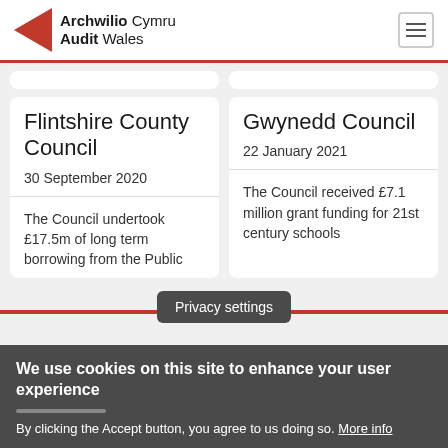[Figure (logo): Archwilio Cymru Audit Wales logo with red triangle arrow and text]
Flintshire County Council
30 September 2020
The Council undertook £17.5m of long term borrowing from the Public
Gwynedd Council
22 January 2021
The Council received £7.1 million grant funding for 21st century schools
Privacy settings
We use cookies on this site to enhance your user experience
By clicking the Accept button, you agree to us doing so. More info